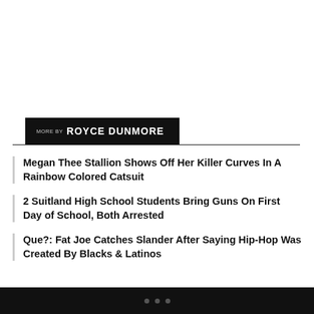MORE BY ROYCE DUNMORE
Megan Thee Stallion Shows Off Her Killer Curves In A Rainbow Colored Catsuit
2 Suitland High School Students Bring Guns On First Day of School, Both Arrested
Que?: Fat Joe Catches Slander After Saying Hip-Hop Was Created By Blacks & Latinos